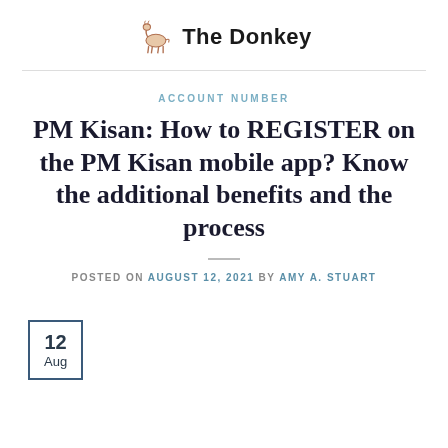The Donkey
ACCOUNT NUMBER
PM Kisan: How to REGISTER on the PM Kisan mobile app? Know the additional benefits and the process
POSTED ON AUGUST 12, 2021 BY AMY A. STUART
12 Aug